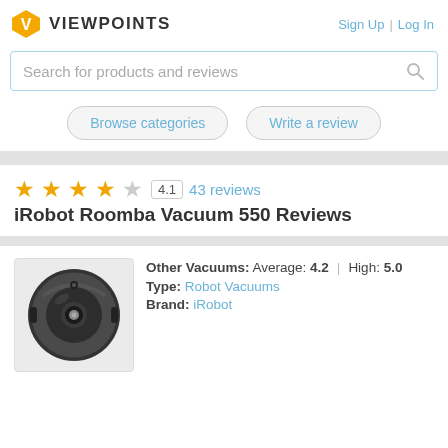VIEWPOINTS | Sign Up | Log In
Search for products and reviews
Browse categories | Write a review
★★★★☆ 4.1  43 reviews
iRobot Roomba Vacuum 550 Reviews
[Figure (photo): iRobot Roomba 550 vacuum robot, circular dark grey robotic vacuum cleaner, top-down view]
Other Vacuums: Average: 4.2 | High: 5.0
Type: Robot Vacuums
Brand: iRobot